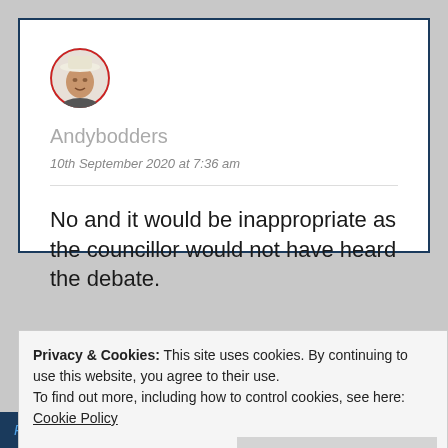[Figure (photo): Circular avatar photo of a man wearing a white hat, with a red-bordered circle frame]
Andybodders
10th September 2020 at 7:36 am
No and it would be inappropriate as the councillor would not have heard the debate.
Privacy & Cookies: This site uses cookies. By continuing to use this website, you agree to their use.
To find out more, including how to control cookies, see here:
Cookie Policy
Close and accept
Published by Andy Boddington. Shropshire Councillor